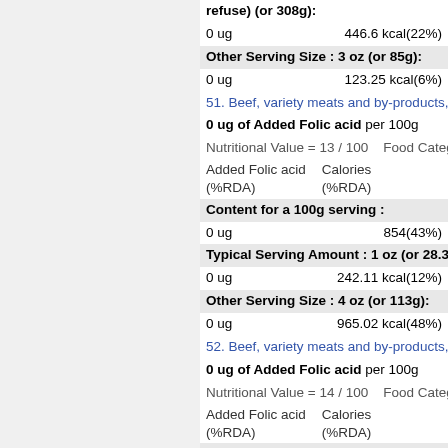refuse) (or 308g):
0 ug    446.6 kcal(22%)
Other Serving Size : 3 oz (or 85g):
0 ug    123.25 kcal(6%)
51. Beef, variety meats and by-products,
0 ug of Added Folic acid per 100g
Nutritional Value = 13 / 100    Food Categ
Added Folic acid (%RDA)    Calories (%RDA)
Content for a 100g serving :
0 ug    854(43%)
Typical Serving Amount : 1 oz (or 28.3
0 ug    242.11 kcal(12%)
Other Serving Size : 4 oz (or 113g):
0 ug    965.02 kcal(48%)
52. Beef, variety meats and by-products,
0 ug of Added Folic acid per 100g
Nutritional Value = 14 / 100    Food Categ
Added Folic acid (%RDA)    Calories (%RDA)
Content for a 100g serving :
0 ug    236(12%)
Typical Serving Amount : 1 oz (or 28.3
0 ug    66.91 kcal(3%)
Other Serving Size : 4 oz (or 113g):